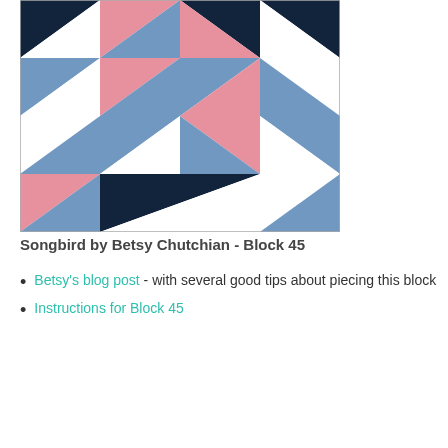[Figure (illustration): Quilt block pattern named Songbird Block 45 by Betsy Chutchian. A geometric quilt block made of triangles in navy blue, pink/salmon, medium blue, and white arranged in a symmetrical pattern.]
Songbird by Betsy Chutchian - Block 45
Betsy's blog post - with several good tips about piecing this block
Instructions for Block 45